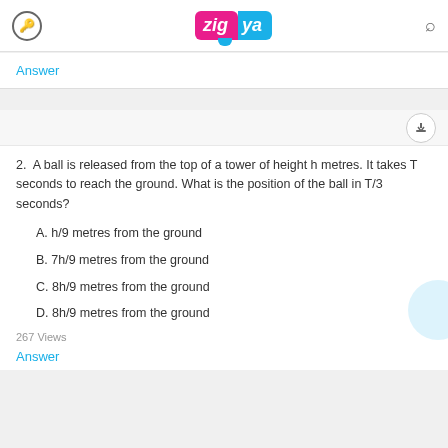Zigya
Answer
2.  A ball is released from the top of a tower of height h metres. It takes T seconds to reach the ground. What is the position of the ball in T/3 seconds?
A. h/9 metres from the ground
B. 7h/9 metres from the ground
C. 8h/9 metres from the ground
D. 8h/9 metres from the ground
267 Views
Answer